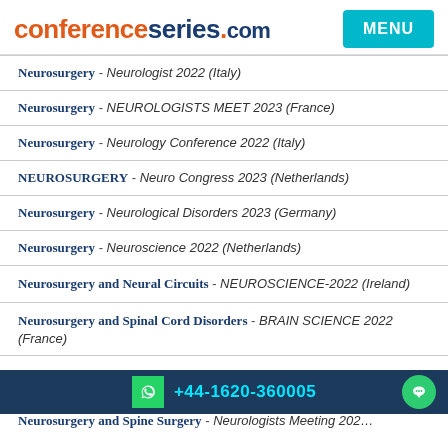conferenceseries.com MENU
Neurosurgery - Neurologist 2022 (Italy)
Neurosurgery - NEUROLOGISTS MEET 2023 (France)
Neurosurgery - Neurology Conference 2022 (Italy)
NEUROSURGERY - Neuro Congress 2023 (Netherlands)
Neurosurgery - Neurological Disorders 2023 (Germany)
Neurosurgery - Neuroscience 2022 (Netherlands)
Neurosurgery and Neural Circuits - NEUROSCIENCE-2022 (Ireland)
Neurosurgery and Spinal Cord Disorders - BRAIN SCIENCE 2022 (France)
+44-1620-360005
Neurosurgery and Spine Surgery - Neurologists Meeting 2022 (Italy)